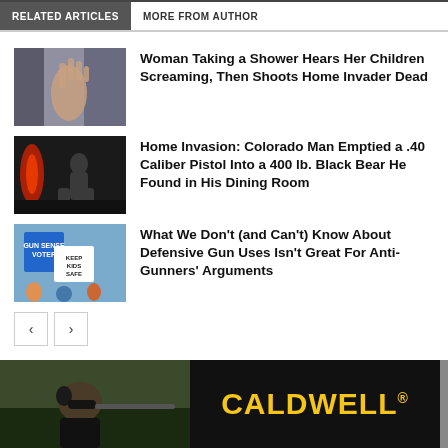RELATED ARTICLES   MORE FROM AUTHOR
Woman Taking a Shower Hears Her Children Screaming, Then Shoots Home Invader Dead
Home Invasion: Colorado Man Emptied a .40 Caliber Pistol Into a 400 lb. Black Bear He Found in His Dining Room
What We Don’t (and Can’t) Know About Defensive Gun Uses Isn’t Great For Anti-Gunners’ Arguments
[Figure (other): Caldwell advertisement banner with a man shooting a rifle, wearing ear protection and sunglasses, with the CALDWELL brand name in yellow text on black background]